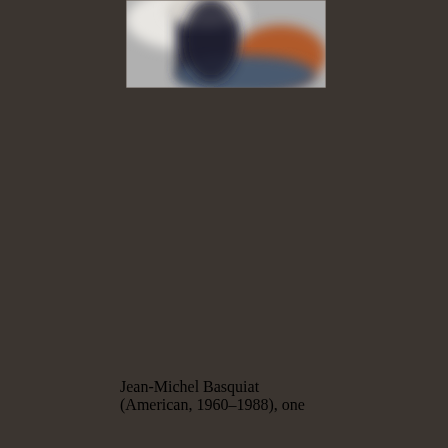[Figure (photo): A blurred/out-of-focus photograph showing a person in dark clothing with an orange/rust-colored and blueish background. The image is partially cropped at the top of the page.]
Jean-Michel Basquiat (American, 1960–1988), one